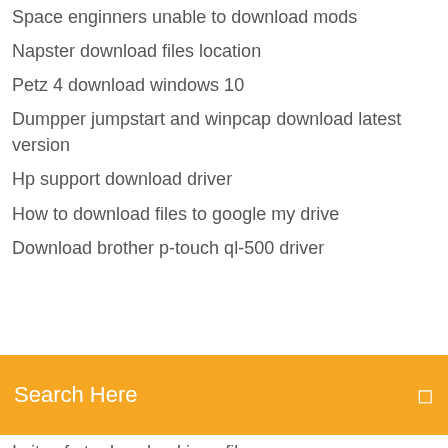Space enginners unable to download mods
Napster download files location
Petz 4 download windows 10
Dumpper jumpstart and winpcap download latest version
Hp support download driver
How to download files to google my drive
Download brother p-touch ql-500 driver
Search Here
Is it safe to download jpeg files
Cant download eufyhome app
Download turbotax 2018 free deluxe app crack
Download lego wedo app on google
Adrenaline error downloading file
How do you download through the waze app
Hp laserjet pro m501 driver download windows 7
Mi drop download for pc mobo
How to delete old unfinished downloads on android
Where does spotify download music to pc free